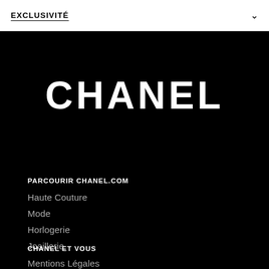EXCLUSIVITÉ
CHANEL
PARCOURIR CHANEL.COM
Haute Couture
Mode
Horlogerie
Joaillerie
CHANEL ET VOUS
Mentions Légales